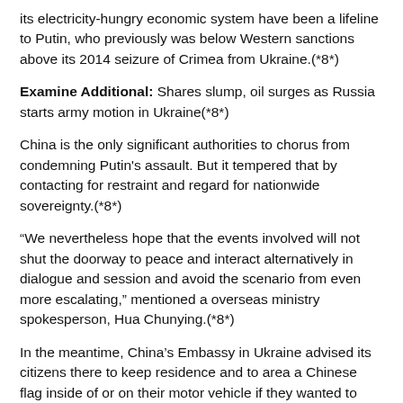its electricity-hungry economic system have been a lifeline to Putin, who previously was below Western sanctions above its 2014 seizure of Crimea from Ukraine.(*8*)
Examine Additional: Shares slump, oil surges as Russia starts army motion in Ukraine(*8*)
China is the only significant authorities to chorus from condemning Putin's assault. But it tempered that by contacting for restraint and regard for nationwide sovereignty.(*8*)
“We nevertheless hope that the events involved will not shut the doorway to peace and interact alternatively in dialogue and session and avoid the scenario from even more escalating,” mentioned a overseas ministry spokesperson, Hua Chunying.(*8*)
In the meantime, China’s Embassy in Ukraine advised its citizens there to keep residence and to area a Chinese flag inside of or on their motor vehicle if they wanted to vacation.(*8*)